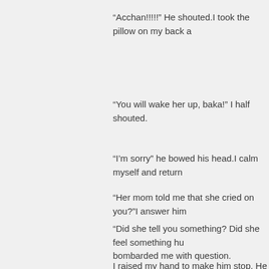“Acchan!!!!!” He shouted.I took the pillow on my back a
“You will wake her up, baka!” I half shouted.
“I’m sorry” he bowed his head.I calm myself and return
“Her mom told me that she cried on you?”I answer him
“Did she tell you something? Did she feel something hu bombarded me with question.
I raised my hand to make him stop. He picked up the p
“She’s improving, that’s all I can say.”